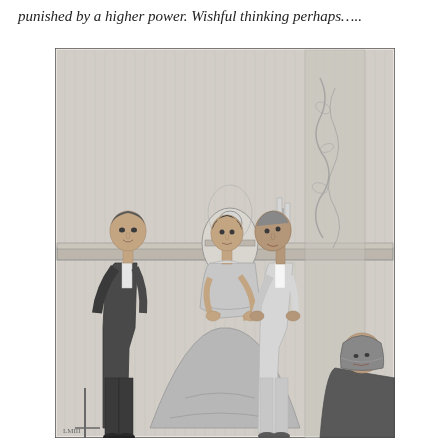punished by a higher power. Wishful thinking perhaps…..
[Figure (illustration): Victorian-era engraving illustration showing an interior parlour scene with four figures: a young woman in a wide crinoline dress and a taller older man leaning toward each other in a near-kiss at centre, an elegantly dressed young man standing to the left watching them, and a seated woman with a bonnet visible at the lower right. A mantelpiece with a clock under a glass dome and decorative wall panels are visible in the background.]